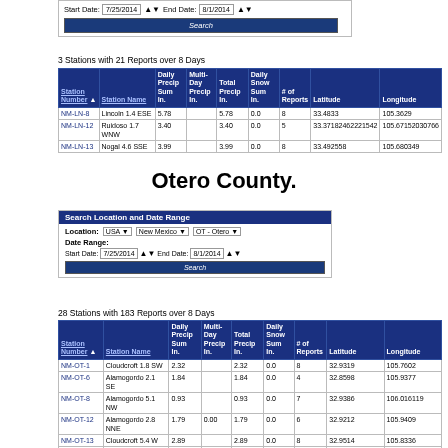[Figure (screenshot): Search form with Start Date 7/25/2014 and End Date 8/1/2014 and a Search button]
3 Stations with 21 Reports over 8 Days
| Station Number | Station Name | Daily Precip Sum In. | Multi-Day Precip In. | Total Precip In. | Daily Snow Sum In. | # of Reports | Latitude | Longitude |
| --- | --- | --- | --- | --- | --- | --- | --- | --- |
| NM-LN-8 | Lincoln 1.4 ESE | 5.78 |  | 5.78 | 0.0 | 8 | 33.4833 | 105.3629 |
| NM-LN-12 | Ruidoso 1.7 WNW | 3.40 |  | 3.40 | 0.0 | 5 | 33.37182462221542 | 105.67152030766 |
| NM-LN-13 | Nogal 4.6 SSE | 3.99 |  | 3.99 | 0.0 | 8 | 33.492558 | 105.680349 |
Otero County.
[Figure (screenshot): Search Location and Date Range form with Location USA / New Mexico / OT - Otero, Date Range 7/25/2014 to 8/1/2014, and Search button]
28 Stations with 183 Reports over 8 Days
| Station Number | Station Name | Daily Precip Sum In. | Multi-Day Day Precip In. | Total Precip In. | Daily Snow Sum In. | # of Reports | Latitude | Longitude |
| --- | --- | --- | --- | --- | --- | --- | --- | --- |
| NM-OT-1 | Cloudcroft 1.8 SW | 2.32 |  | 2.32 | 0.0 | 8 | 32.9319 | 105.7602 |
| NM-OT-6 | Alamogordo 2.1 SE | 1.84 |  | 1.84 | 0.0 | 4 | 32.8598 | 105.9377 |
| NM-OT-8 | Alamogordo 5.1 NW | 0.93 |  | 0.93 | 0.0 | 7 | 32.9386 | 106.016119 |
| NM-OT-12 | Alamogordo 2.8 NNE | 1.79 | 0.00 | 1.79 | 0.0 | 6 | 32.9212 | 105.9409 |
| NM-OT-13 | Cloudcroft 5.4 W | 2.89 |  | 2.89 | 0.0 | 8 | 32.9514 | 105.8336 |
| NM-OT-15 | Alamogordo 2.1 ENE | 1.11 | 0.00 | 1.11 | 0.0 | 5 | 32.8996 | 105.9263 |
| NM-OT-24 | Cloudcroft 0.5 NNW | 2.07 |  | 2.07 | 0.0 | 6 | 32.960056 | 105.741256 |
| NM-OT-27 | Cloudcroft 4.0 E | 2.03 |  | 2.03 | 0.0 | 7 | 32.94648 | 105.6714333 |